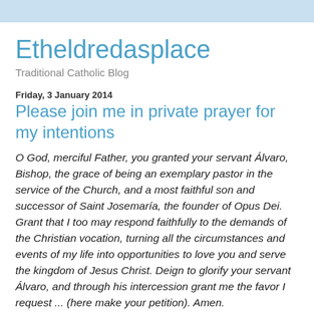Etheldredasplace
Traditional Catholic Blog
Friday, 3 January 2014
Please join me in private prayer for my intentions
O God, merciful Father, you granted your servant Álvaro, Bishop, the grace of being an exemplary pastor in the service of the Church, and a most faithful son and successor of Saint Josemaría, the founder of Opus Dei. Grant that I too may respond faithfully to the demands of the Christian vocation, turning all the circumstances and events of my life into opportunities to love you and serve the kingdom of Jesus Christ. Deign to glorify your servant Álvaro, and through his intercession grant me the favor I request ... (here make your petition). Amen.